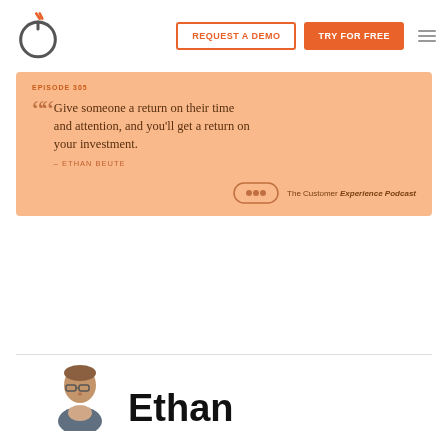REQUEST A DEMO | TRY FOR FREE
EPISODE 305
Give someone a return on their time and attention, and you'll get a return on your investment.
– ETHAN BEUTE
The Customer Experience Podcast
Ethan